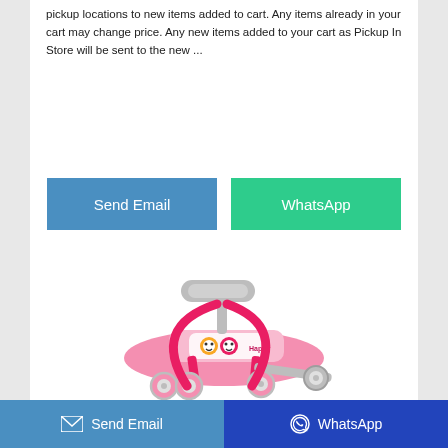pickup locations to new items added to cart. Any items already in your cart may change price. Any new items added to your cart as Pickup In Store will be sent to the new ...
[Figure (other): Blue 'Send Email' button and green 'WhatsApp' button side by side]
[Figure (photo): Pink children's swing car / ride-on toy with gray steering wheel and 'Happy' text on the seat]
Send Email   WhatsApp (bottom bar buttons)